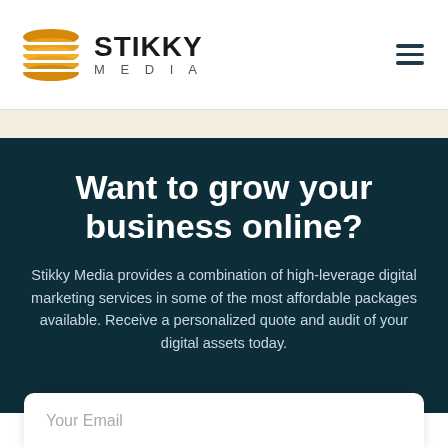[Figure (logo): Stikky Media logo with stacked orange oval lines icon and bold STIKKY MEDIA text]
Want to grow your business online?
Stikky Media provides a combination of high-leverage digital marketing services in some of the most affordable packages available. Receive a personalized quote and audit of your digital assets today.
Your Email